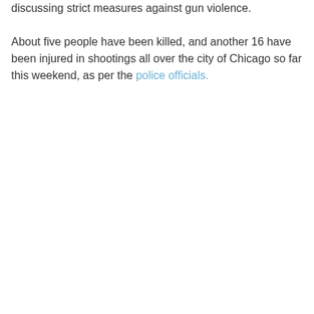discussing strict measures against gun violence. About five people have been killed, and another 16 have been injured in shootings all over the city of Chicago so far this weekend, as per the police officials.